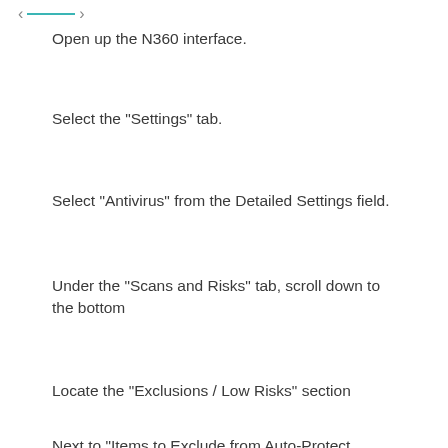< — >
Open up the N360 interface.
Select the "Settings" tab.
Select "Antivirus" from the Detailed Settings field.
Under the "Scans and Risks" tab, scroll down to the bottom
Locate the "Exclusions / Low Risks" section
Next to "Items to Exclude from Auto-Protect